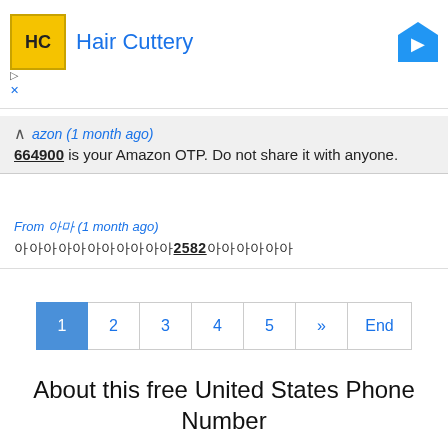[Figure (logo): Hair Cuttery advertisement banner with HC logo in yellow square and blue diamond arrow icon]
664900 is your Amazon OTP. Do not share it with anyone.
From 아마 (1 month ago)
아아아아아아아아아아아2582아아아아아아
Pagination: 1 2 3 4 5 » End
About this free United States Phone Number